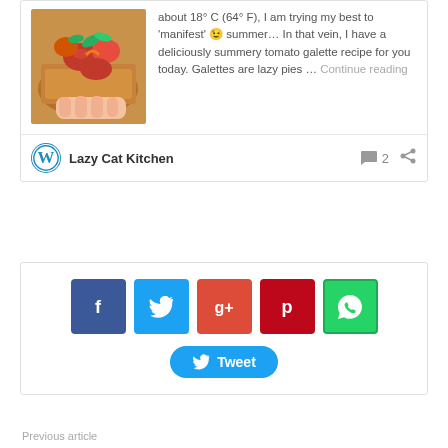[Figure (photo): Photo of a tomato galette being held by hands, with basil and roasted tomatoes on top, rustic bread/pastry base]
about 18° C (64° F), I am trying my best to 'manifest' 😉 summer… In that vein, I have a deliciously summery tomato galette recipe for you today. Galettes are lazy pies … Continue reading
Lazy Cat Kitchen
2
[Figure (infographic): Social sharing buttons: Facebook (blue), Twitter (light blue), Google+ (red), Pinterest (dark red), WhatsApp (green), and a Tweet button]
Previous article